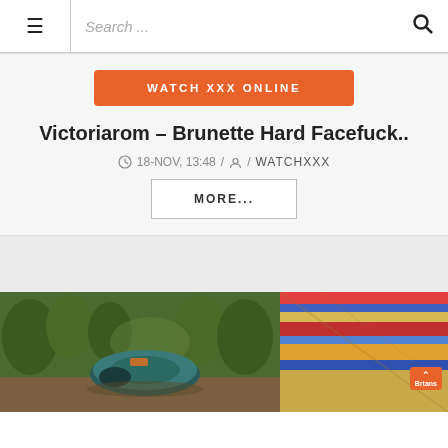☰   Search ...   🔍
[Figure (other): Orange button labeled WATCH XXX ONLINE]
Victoriarom – Brunette Hard Facefuck..
18-NOV, 13:48 / person icon / WATCHXXX
MORE...
[Figure (photo): Two photos side by side: left shows a tent in a forest, right shows colorful fabric/blanket close-up with an orange badge overlay]